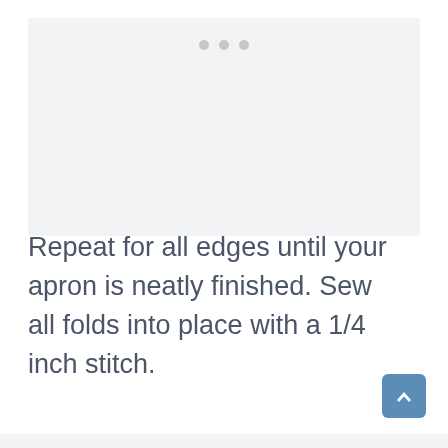[Figure (illustration): Light gray placeholder image box with three gray dots at the top center, representing a carousel or image placeholder for a sewing/apron tutorial step.]
Repeat for all edges until your apron is neatly finished. Sew all folds into place with a 1/4 inch stitch.